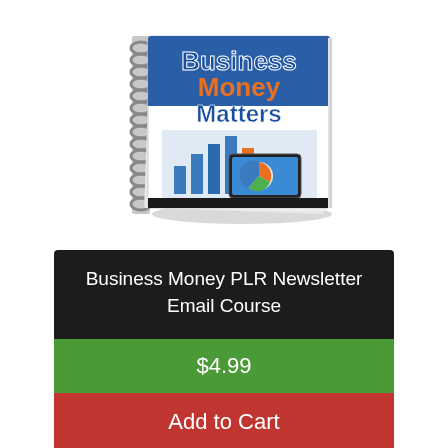[Figure (illustration): A spiral-bound notebook/book titled 'Business Money Matters' with colorful text on the cover (Business in blue, Money in orange, Matters in blue), showing a bar chart and business graphics on the lower portion of the cover, presented at a slight angle with a shadow beneath.]
Business Money PLR Newsletter Email Course
$4.99
Add to Cart